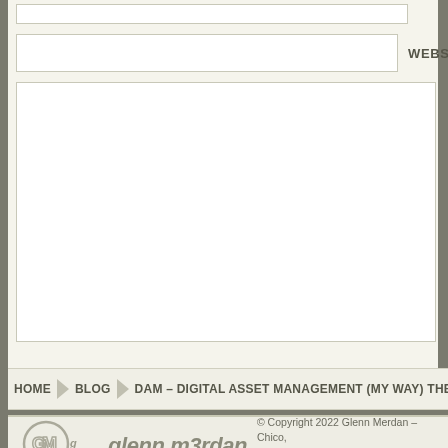[Figure (screenshot): Input field at top of form (empty text input)]
WEBSITE
[Figure (screenshot): Website URL input field (empty)]
[Figure (screenshot): Large comment/message textarea (empty)]
HOME > BLOG > DAM – DIGITAL ASSET MANAGEMENT (MY WAY) THE C
© Copyright 2022 Glenn Merdan – Chico, designer. All Rights Reserved. On new ser